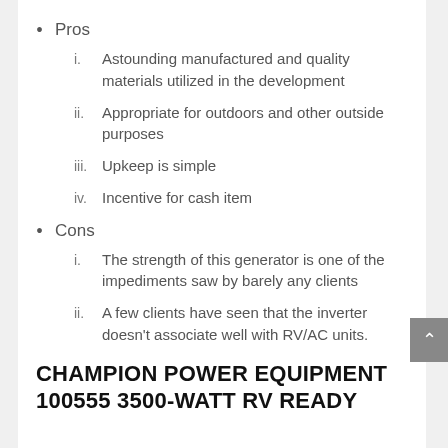Pros
i. Astounding manufactured and quality materials utilized in the development
ii. Appropriate for outdoors and other outside purposes
iii. Upkeep is simple
iv. Incentive for cash item
Cons
i. The strength of this generator is one of the impediments saw by barely any clients
ii. A few clients have seen that the inverter doesn't associate well with RV/AC units.
CHAMPION POWER EQUIPMENT 100555 3500-WATT RV READY